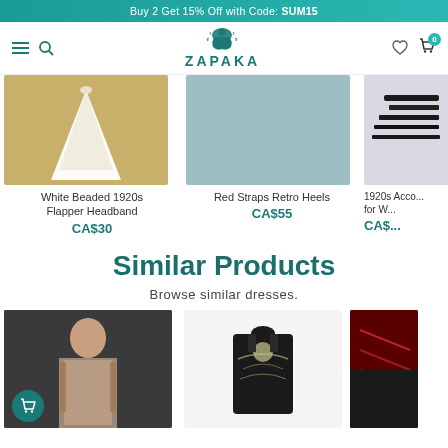Buy 2 Get 15% Off with Code: SUM15
[Figure (logo): ZAPAKA brand logo with decorative silhouette figure and foliage, in teal color]
[Figure (photo): White cone-shaped headband/fascinator on golden background - White Beaded 1920s Flapper Headband]
White Beaded 1920s Flapper Headband
CA$30
[Figure (photo): Light teal/blue background product photo - Red Straps Retro Heels]
Red Straps Retro Heels
CA$55
[Figure (photo): Partial view of black accessories product - 1920s Accessories for W...]
1920s Acco... for W...
CA$...
Similar Products
Browse similar dresses.
[Figure (photo): Woman in 1920s style beaded dress with dark short hair, dark background, with teal cart circle icon overlay]
[Figure (photo): Black embroidered/beaded short sleeve dress on pale background]
[Figure (photo): Partial view of red and dark colored garment]